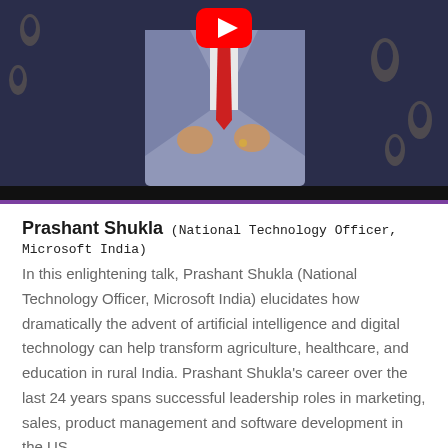[Figure (screenshot): YouTube video thumbnail showing a man in a light grey suit and red tie gesturing with his hands, against a dark blue/purple background with decorative paisley patterns. A YouTube play button icon is visible at the top center.]
Prashant Shukla (National Technology Officer, Microsoft India)
In this enlightening talk, Prashant Shukla (National Technology Officer, Microsoft India) elucidates how dramatically the advent of artificial intelligence and digital technology can help transform agriculture, healthcare, and education in rural India. Prashant Shukla's career over the last 24 years spans successful leadership roles in marketing, sales, product management and software development in the US